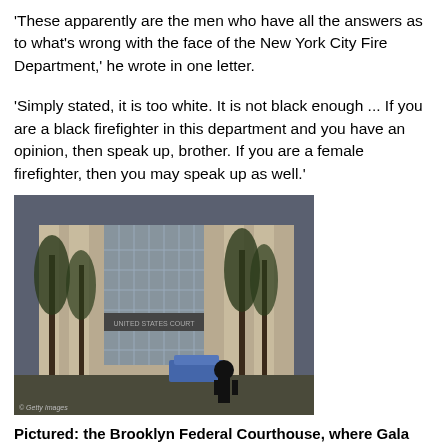'These apparently are the men who have all the answers as to what's wrong with the face of the New York City Fire Department,' he wrote in one letter.
'Simply stated, it is too white. It is not black enough ... If you are a black firefighter in this department and you have an opinion, then speak up, brother. If you are a female firefighter, then you may speak up as well.'
[Figure (photo): Exterior of the Brooklyn Federal Courthouse building, a stone structure with trees in front. A person in a dark jacket stands in the foreground. A police vehicle is visible. Getty Images watermark visible.]
Pictured: the Brooklyn Federal Courthouse, where Gala filed his law November
'However, if you are a white male firefighter, keep your